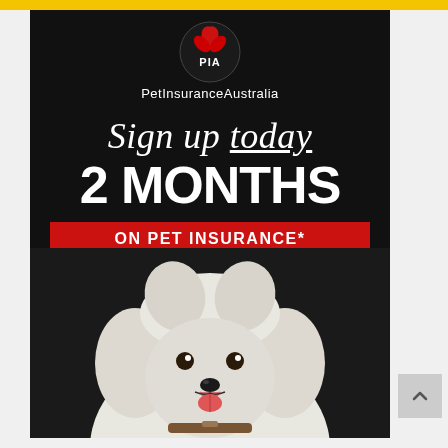[Figure (logo): PIA Pet Insurance Australia logo — circular emblem with red leaves/paw shapes on black circle, text 'PIA' in white and 'PetInsuranceAustralia' below]
Sign up today
2 MONTHS FREE
ON PET INSURANCE*
[Figure (photo): A white fluffy Samoyed dog with a brown collar, smiling with mouth open, photographed against a dark background]